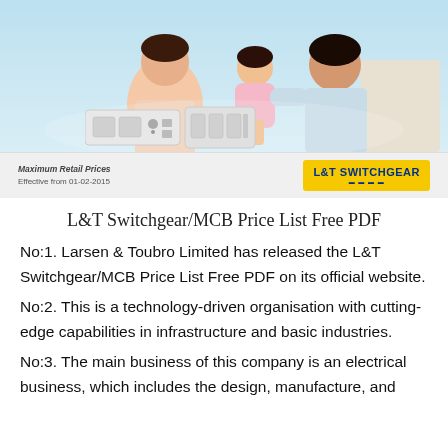[Figure (photo): Advertisement image showing a family (woman, child, man) on a light blue background with L&T switchgear products in foreground. Bottom bar shows 'Maximum Retail Prices Effective from 01-02-2015' and L&T Switchgear logo.]
L&T Switchgear/MCB Price List Free PDF
No:1. Larsen & Toubro Limited has released the L&T Switchgear/MCB Price List Free PDF on its official website.
No:2. This is a technology-driven organisation with cutting-edge capabilities in infrastructure and basic industries.
No:3. The main business of this company is an electrical business, which includes the design, manufacture, and